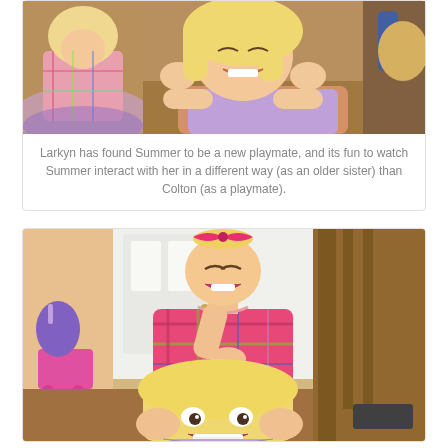[Figure (photo): A smiling young blonde girl lying on a table with her hands on her cheeks, looking at the camera. Another child in a colorful dress is visible behind her.]
Larkyn has found Summer to be a new playmate, and its fun to watch Summer interact with her in a different way (as an older sister) than Colton (as a playmate).
[Figure (photo): A toddler girl with a big pink bow in her hair, wearing a pink plaid dress, appearing to pull the hair of another girl below her who is reacting with an exaggerated expression. Both are blonde.]